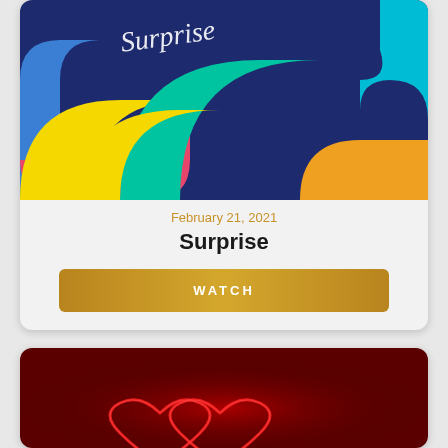[Figure (illustration): Colorful abstract art with dark navy background, white cursive script text at top, and colorful curved shapes (pink, yellow, teal/green, blue, cyan, orange) in the lower portion]
February 21, 2021
Surprise
WATCH
[Figure (photo): Dark red/crimson background with two overlapping neon-glowing red heart outlines]